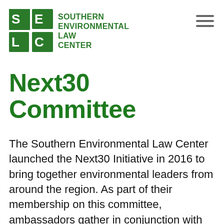[Figure (logo): Southern Environmental Law Center (SELC) logo with green block letter icon showing SE/LC and text 'SOUTHERN ENVIRONMENTAL LAW CENTER']
Next30 Committee
The Southern Environmental Law Center launched the Next30 Initiative in 2016 to bring together environmental leaders from around the region. As part of their membership on this committee, ambassadors gather in conjunction with our annual board meeting where they learn